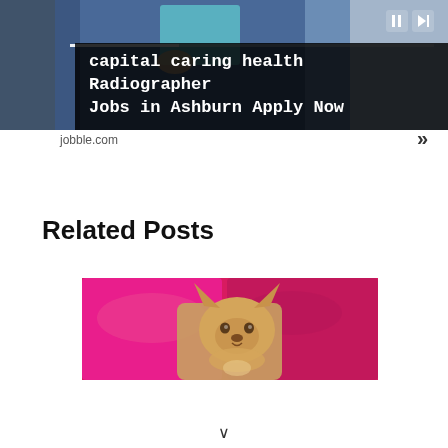[Figure (screenshot): Advertisement banner showing a person in a blue suit holding a teal book/folder, with media player controls and a progress bar. Overlay text reads: capital caring health Radiographer Jobs in Ashburn Apply Now]
jobble.com
»
Related Posts
[Figure (photo): Photo of a small tan/golden dog (likely a Chihuahua mix) resting its chin on a bright red/pink pillow or cushion, looking at the camera]
∨